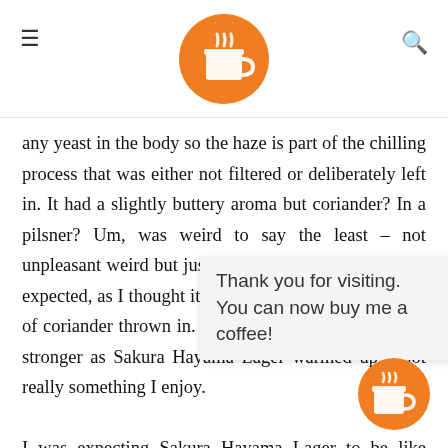Header with hamburger menu, logo, and search icon
any yeast in the body so the haze is part of the chilling process that was either not filtered or deliberately left in. It had a slightly buttery aroma but coriander? In a pilsner? Um, was weird to say the least – not unpleasant weird but just weird in that it wasn't really expected, as I thought it would just be a slight handful of coriander thrown in. The buttery aroma though got stronger as Sakura Hayama Lager warmed up – not really something I enjoy.
I was expecting Sakura Hayama Lager to be like every other pilsner in [obscured] ch hop flavour or [obscured] wasn't much hop flavo[ur] or [obscured] crisp. Sak[ura] [obscured] s pre[sent in] the body and really didn't suit the style at all. Horrm of
Thank you for visiting. You can now buy me a coffee!